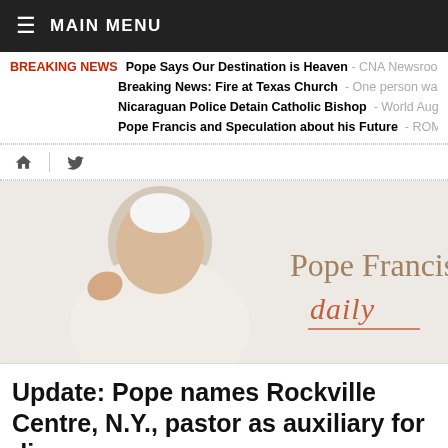≡ MAIN MENU
BREAKING NEWS  Pope Says Our Destination is Heaven - CNA Newsroom, Aug  |  Breaking News: Fire at Texas Church - One person was inju  |  Nicaraguan Police Detain Catholic Bishop - World Aug 19, 2  |  Pope Francis and Speculation about his Future - ROME (A
[Figure (logo): Pope Francis Daily banner with photo of Pope Francis waving and text 'Pope Francis daily' in elegant lettering]
Update: Pope names Rockville Centre, N.Y., pastor as auxiliary for diocese
≡  Article